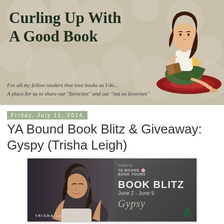[Figure (illustration): Blog header banner for 'Curling Up With A Good Book' featuring a cartoon woman reading a book while sitting on a red rug, with a tan/beige background with circular patterns. Subtitle reads: 'For all my fellow readers that love books as I do... A place for us to share our "favorites" and our "not so favorites"']
Friday, July 11, 2014
YA Bound Book Blitz & Giveaway: Gyspy (Trisha Leigh)
[Figure (illustration): Book Blitz promotional banner for 'Gypsy' by Trisha Leigh. Left side shows a young woman with long dark hair looking up, dark atmospheric photo. Right side has text: 'hosted by YA BOUND BOOK TOURS', 'BOOK BLITZ', 'June 2 - June 9', 'Gypsy' in script, 'TRISHA LEIGH' at bottom.]